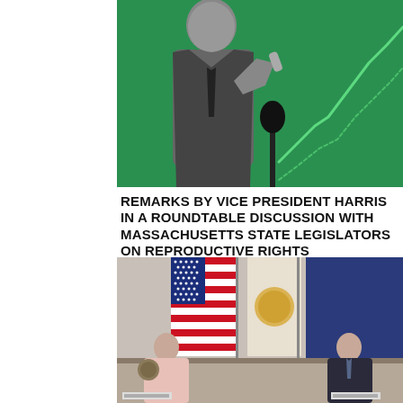[Figure (photo): Black and white photo of a man in a suit speaking at a microphone, pointing a finger, against a green background with an upward trending line chart overlay]
REMARKS BY VICE PRESIDENT HARRIS IN A ROUNDTABLE DISCUSSION WITH MASSACHUSETTS STATE LEGISLATORS ON REPRODUCTIVE RIGHTS
[Figure (photo): Photo of Vice President Kamala Harris seated at a roundtable with an American flag and official seal flag in the background, with a male official seated to her right, during a legislative discussion]